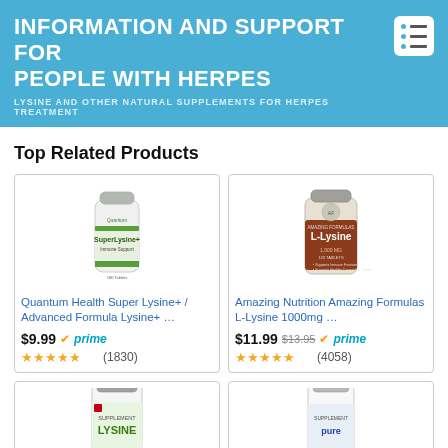INFORMATION AND SUPPORT FOR PEOPLE WITH HERPES
LYSINE AND OTHER NATURAL SUPPLEMENTS FOR HERPES TREATMENT
Top Related Products
[Figure (photo): Quantum Health Super Lysine+ bottle (white bottle with green label)]
Quantum Health Super Lysine+ / Advanced Formula Lysine+ ...
$9.99 prime (1830 reviews)
[Figure (photo): Amazing Nutrition Amazing Formulas L-Lysine 1000mg bottle (brown label)]
Amazing Nutrition Amazing Formulas L-Lysine 1000mg ...
$11.99 $13.95 prime (4058 reviews)
[Figure (photo): Lysine supplement bottle with green label, partially visible (bottom of page)]
[Figure (photo): Pure supplement white bottle, partially visible (bottom of page)]